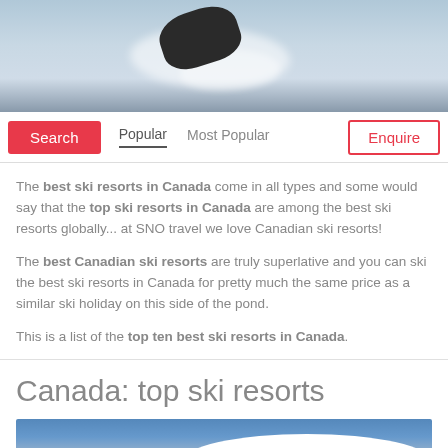[Figure (photo): Top banner photo of skis in snow with splash of powder, blue-grey tones]
Search | Popular | Most Popular | Enquire (navigation bar)
The best ski resorts in Canada come in all types and some would say that the top ski resorts in Canada are among the best ski resorts globally... at SNO travel we love Canadian ski resorts!
The best Canadian ski resorts are truly superlative and you can ski the best ski resorts in Canada for pretty much the same price as a similar ski holiday on this side of the pond.
This is a list of the top ten best ski resorts in Canada.
Canada: top ski resorts
[Figure (photo): Bottom photo showing blue sky and snowy mountain slope]